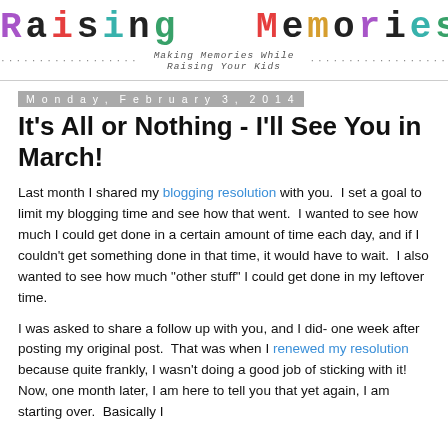Raising Memories — Making Memories While Raising Your Kids
Monday, February 3, 2014
It's All or Nothing - I'll See You in March!
Last month I shared my blogging resolution with you.  I set a goal to limit my blogging time and see how that went.  I wanted to see how much I could get done in a certain amount of time each day, and if I couldn't get something done in that time, it would have to wait.  I also wanted to see how much "other stuff" I could get done in my leftover time.
I was asked to share a follow up with you, and I did- one week after posting my original post.  That was when I renewed my resolution because quite frankly, I wasn't doing a good job of sticking with it!  Now, one month later, I am here to tell you that yet again, I am starting over.  Basically I